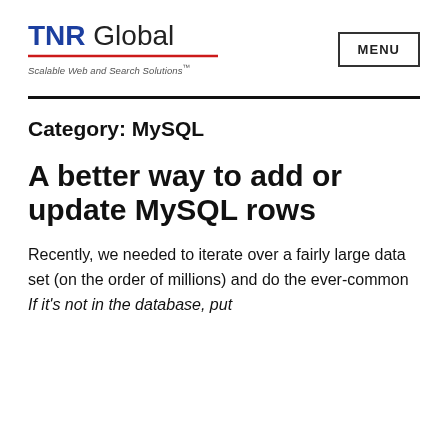TNR Global — Scalable Web and Search Solutions™ | MENU
Category: MySQL
A better way to add or update MySQL rows
Recently, we needed to iterate over a fairly large data set (on the order of millions) and do the ever-common If it's not in the database, put